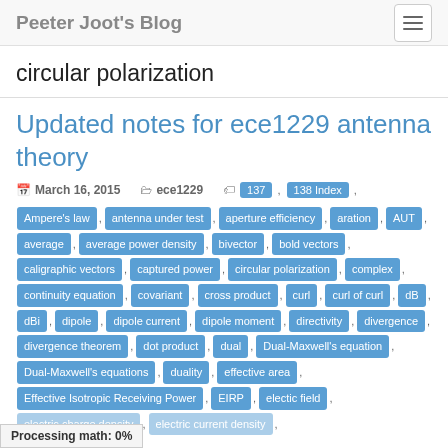Peeter Joot's Blog
circular polarization
Updated notes for ece1229 antenna theory
March 16, 2015   ece1229
Tags: 137, 138 Index, Ampere's law, antenna under test, aperture efficiency, aration, AUT, average, average power density, bivector, bold vectors, caligraphic vectors, captured power, circular polarization, complex, continuity equation, covariant, cross product, curl, curl of curl, dB, dBi, dipole, dipole current, dipole moment, directivity, divergence, divergence theorem, dot product, dual, Dual-Maxwell's equation, Dual-Maxwell's equations, duality, effective area, Effective Isotropic Receiving Power, EIRP, electic field, electric charge density, electric current density
Processing math: 0%